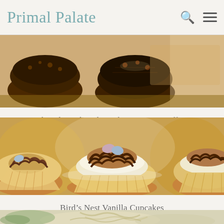Primal Palate
[Figure (photo): Close-up photo of chocolate chip banana muffins on a wooden surface, showing rich brown chocolate texture]
Chocolate Chocolate Chip Banana Muffins
[Figure (photo): Close-up photo of Bird's Nest Vanilla Cupcakes decorated with chocolate nest frosting and pastel Easter egg candies on top]
Bird’s Nest Vanilla Cupcakes
[Figure (photo): Partial photo of a third recipe item, appears to show pasta or noodle dish with vegetables]